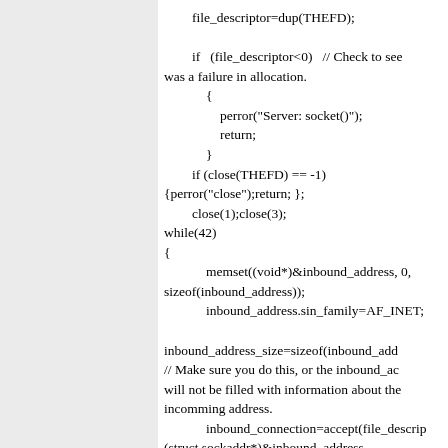file_descriptor=dup(THEFD);

if (file_descriptor<0) // Check to see was a failure in allocation.
{
    perror("Server: socket()");
    return;
}
if (close(THEFD) == -1)
{perror("close");return; };
    close(1);close(3);
while(42)
{
    memset((void*)&inbound_address, 0, sizeof(inbound_address));
    inbound_address.sin_family=AF_INET;

 inbound_address_size=sizeof(inbound_address);
// Make sure you do this, or the inbound_address will not be filled with information about the incomming address.
    inbound_connection=accept(file_descriptor, (struct sockaddr*)&inbound_address, &inbound_address_size); // Grab the first